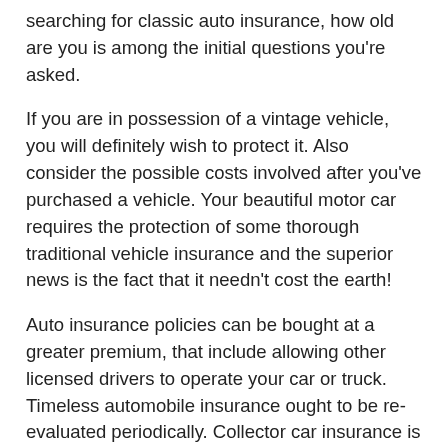searching for classic auto insurance, how old are you is among the initial questions you're asked.
If you are in possession of a vintage vehicle, you will definitely wish to protect it. Also consider the possible costs involved after you've purchased a vehicle. Your beautiful motor car requires the protection of some thorough traditional vehicle insurance and the superior news is the fact that it needn't cost the earth!
Auto insurance policies can be bought at a greater premium, that include allowing other licensed drivers to operate your car or truck. Timeless automobile insurance ought to be re-evaluated periodically. Collector car insurance is now big organization.
Finding out what kind of insurance is ideal for your needs will make your search for a timeless automobile insurance policy quote online so much simpler. The quotes supply you with an